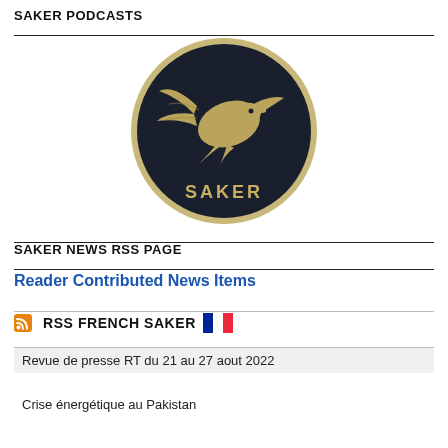SAKER PODCASTS
[Figure (logo): Circular Saker logo with dark navy background, a falcon/bird emblem in gold/tan tones, text 'SAKER' at the bottom of the circle]
SAKER NEWS RSS PAGE
Reader Contributed News Items
RSS FRENCH SAKER
Revue de presse RT du 21 au 27 aout 2022
Crise énergétique au Pakistan